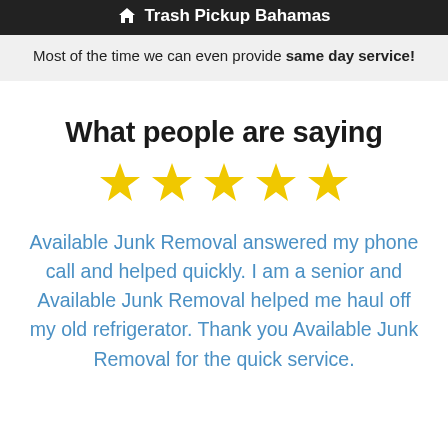Trash Pickup Bahamas
Most of the time we can even provide same day service!
What people are saying
[Figure (other): Five gold star rating icons]
Available Junk Removal answered my phone call and helped quickly. I am a senior and Available Junk Removal helped me haul off my old refrigerator. Thank you Available Junk Removal for the quick service.